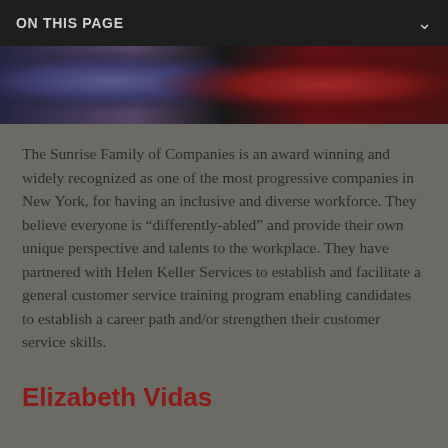ON THIS PAGE
[Figure (photo): Partial photo strip showing textile or fabric patterns in blue/purple and red tones]
The Sunrise Family of Companies is an award winning and widely recognized as one of the most progressive companies in New York, for having an inclusive and diverse workforce. They believe everyone is “differently-abled” and provide their own unique perspective and talents to the workplace. They have partnered with Helen Keller Services to establish and facilitate a general customer service training program enabling candidates to establish a career path and/or strengthen their customer service skills.
Elizabeth Vidas